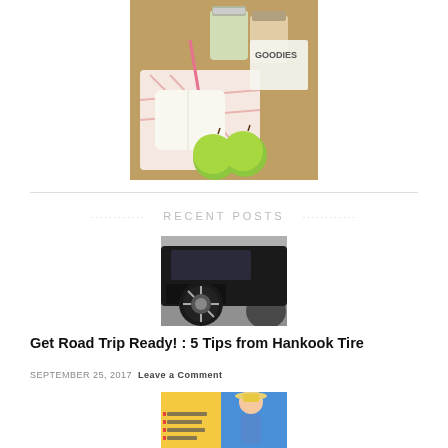[Figure (photo): Picnic basket with mason jars, wrapped items with pink ribbon, green apples, and a label reading 'GOODIES']
RECENT POSTS
[Figure (photo): Close-up of a car tire and wheel, black SUV on pavement]
Get Road Trip Ready! : 5 Tips from Hankook Tire
SEPTEMBER 25, 2017  Leave a Comment
[Figure (photo): Partial view of an infographic or document with a woman in a sun hat]